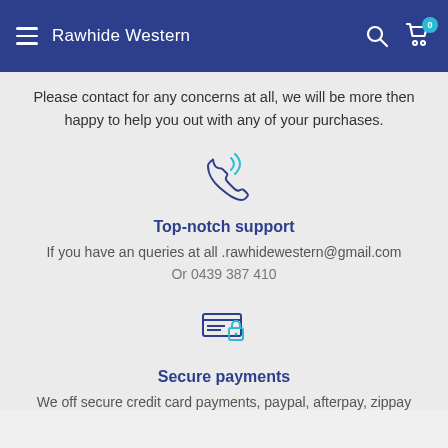Rawhide Western
Please contact for any concerns at all, we will be more then happy to help you out with any of your purchases.
[Figure (illustration): Phone handset icon with signal waves indicating calling]
Top-notch support
If you have an queries at all .rawhidewestern@gmail.com
Or 0439 387 410
[Figure (illustration): Credit card with padlock icon indicating secure payments]
Secure payments
We off secure credit card payments, paypal, afterpay, zippay